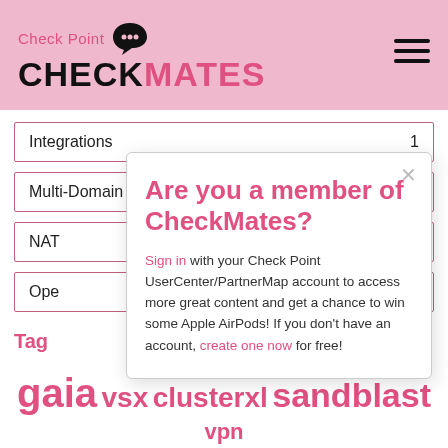Check Point CHECKMATES
Integrations  1
Multi-Domain  1
NAT
Ope
Tag
gaia  vsx  clusterxl  sandblast  vpn
identity  awareness  performance  r80.10
Are you a member of CheckMates?
Sign in with your Check Point UserCenter/PartnerMap account to access more great content and get a chance to win some Apple AirPods! If you don't have an account, create one now for free!